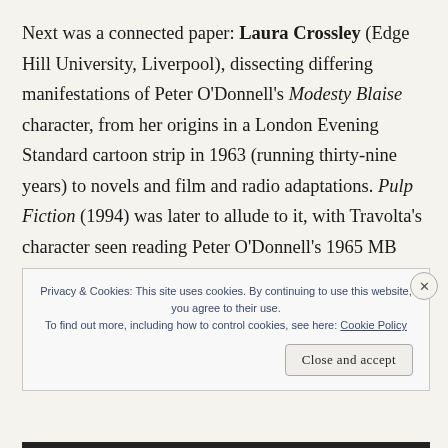Next was a connected paper: Laura Crossley (Edge Hill University, Liverpool), dissecting differing manifestations of Peter O'Donnell's Modesty Blaise character, from her origins in a London Evening Standard cartoon strip in 1963 (running thirty-nine years) to novels and film and radio adaptations. Pulp Fiction (1994) was later to allude to it, with Travolta's character seen reading Peter O'Donnell's 1965 MB novel.
Privacy & Cookies: This site uses cookies. By continuing to use this website, you agree to their use. To find out more, including how to control cookies, see here: Cookie Policy